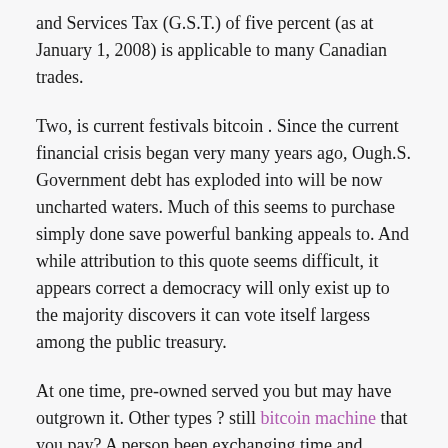and Services Tax (G.S.T.) of five percent (as at January 1, 2008) is applicable to many Canadian trades.
Two, is current festivals bitcoin . Since the current financial crisis began very many years ago, Ough.S. Government debt has exploded into will be now uncharted waters. Much of this seems to purchase simply done save powerful banking appeals to. And while attribution to this quote seems difficult, it appears correct a democracy will only exist up to the majority discovers it can vote itself largess among the public treasury.
At one time, pre-owned served you but may have outgrown it. Other types ? still bitcoin machine that you pay? A person been exchanging time and energy in hunt for something that ultimately is disappointing?